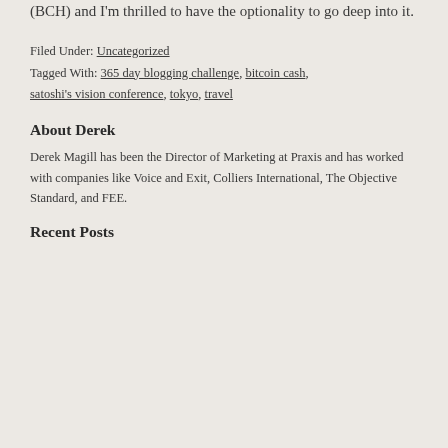(BCH) and I'm thrilled to have the optionality to go deep into it.
Filed Under: Uncategorized
Tagged With: 365 day blogging challenge, bitcoin cash, satoshi's vision conference, tokyo, travel
About Derek
Derek Magill has been the Director of Marketing at Praxis and has worked with companies like Voice and Exit, Colliers International, The Objective Standard, and FEE.
Recent Posts